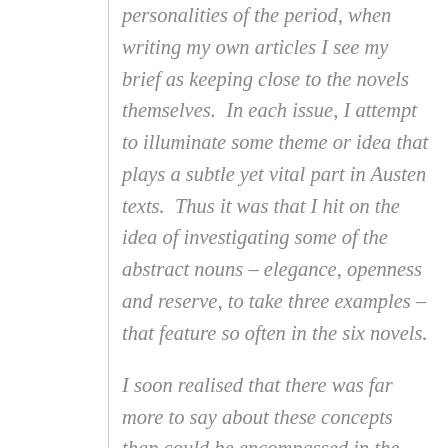personalities of the period, when writing my own articles I see my brief as keeping close to the novels themselves.  In each issue, I attempt to illuminate some theme or idea that plays a subtle yet vital part in Austen texts.  Thus it was that I hit on the idea of investigating some of the abstract nouns – elegance, openness and reserve, to take three examples – that feature so often in the six novels.

I soon realised that there was far more to say about these concepts than could be encompassed in the word-length of an article.  The idea for a new book was born!  The subject seems to me replete with interest.  There is the